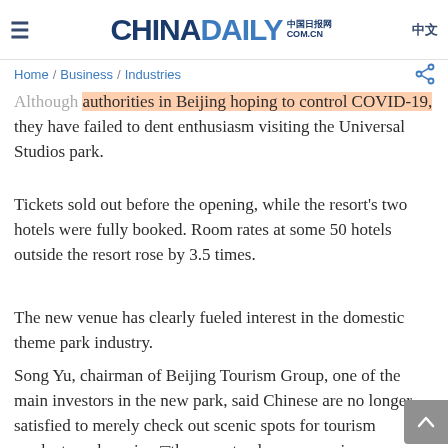CHINADAILY 中国日报网 COM.CN | 中文
Home / Business / Industries
Although authorities in Beijing hoping to control COVID-19, they have failed to dent enthusiasm visiting the Universal Studios park.
Tickets sold out before the opening, while the resort's two hotels were fully booked. Room rates at some 50 hotels outside the resort rose by 3.5 times.
The new venue has clearly fueled interest in the domestic theme park industry.
Song Yu, chairman of Beijing Tourism Group, one of the main investors in the new park, said Chinese are no longer satisfied to merely check out scenic spots for tourism products and services—they want a deeper experience.
Theme parks can meet their needs by creating a fantasy